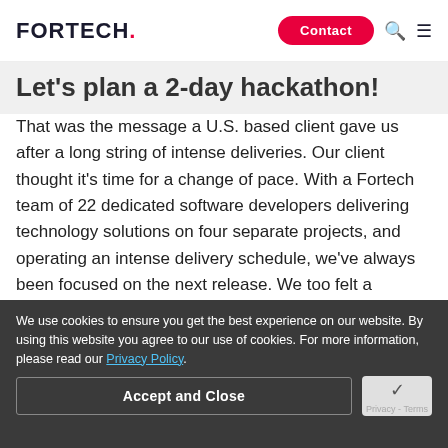FORTECH. Contact
Let's plan a 2-day hackathon!
That was the message a U.S. based client gave us after a long string of intense deliveries. Our client thought it's time for a change of pace. With a Fortech team of 22 dedicated software developers delivering technology solutions on four separate projects, and operating an intense delivery schedule, we've always been focused on the next release. We too felt a hackathon would be a healthy and invigorating change!
Table of Contents
We use cookies to ensure you get the best experience on our website. By using this website you agree to our use of cookies. For more information, please read our Privacy Policy.
Accept and Close